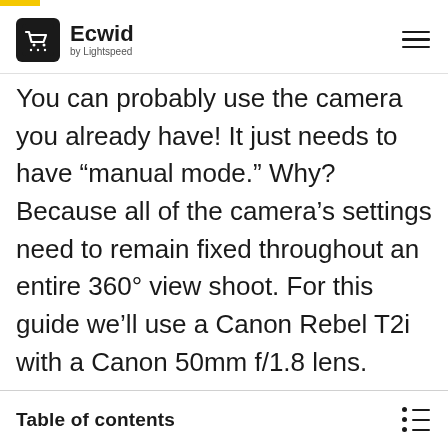Ecwid by Lightspeed
You can probably use the camera you already have! It just needs to have “manual mode.” Why? Because all of the camera’s settings need to remain fixed throughout an entire 360° view shoot. For this guide we’ll use a Canon Rebel T2i with a Canon 50mm f/1.8 lens.
Table of contents